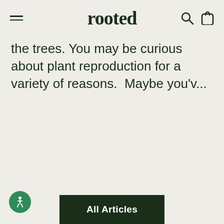rooted
the trees. You may be curious about plant reproduction for a variety of reasons.  Maybe you'v...
Read more
All Articles
[Figure (illustration): Accessibility icon — circular green badge with a wheelchair user symbol in white]